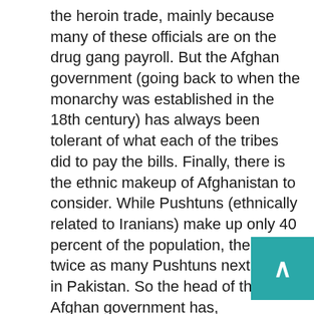the heroin trade, mainly because many of these officials are on the drug gang payroll. But the Afghan government (going back to when the monarchy was established in the 18th century) has always been tolerant of what each of the tribes did to pay the bills. Finally, there is the ethnic makeup of Afghanistan to consider. While Pushtuns (ethnically related to Iranians) make up only 40 percent of the population, there are twice as many Pushtuns next door in Pakistan. So the head of the Afghan government has, traditionally (but not always) been a Pushtun. The job of the national leader has mainly been to mediate disputes between the tribes, and keep the foreigners out. "Running the country" was never considered part of the king's job description. NATO and the U.S. have a hard time understanding the lack of enthusiasm among Afghans for establishing a Western type national government.